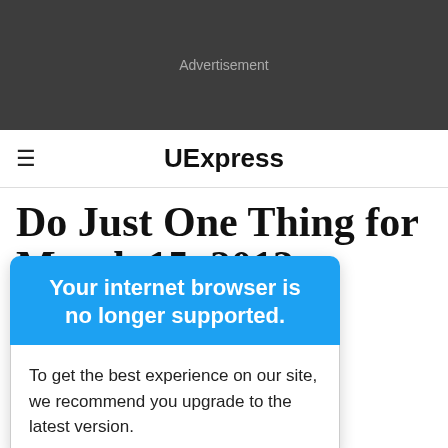[Figure (other): Advertisement banner area – dark gray background with 'Advertisement' label]
UExpress
Do Just One Thing for March 15, 2013
Your internet browser is no longer supported.
To get the best experience on our site, we recommend you upgrade to the latest version.
3/15/13